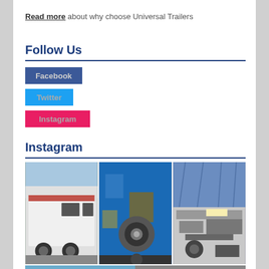Read more about why choose Universal Trailers
Follow Us
Facebook
Twitter
Instagram
Instagram
[Figure (photo): Three Instagram photos of trailers: a white horse trailer, a blue container with a spare wheel, and a blue-covered trailer showing mechanical undercarriage]
[Figure (photo): Partial view of additional Instagram photos at bottom of page]